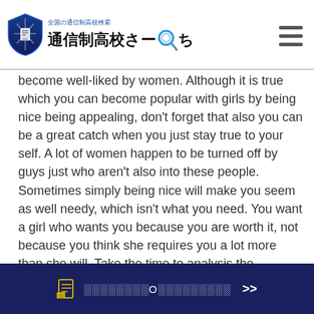全国の通信制高校検索 通信制高校さーち
become well-liked by women. Although it is true which you can become popular with girls by being nice being appealing, don't forget that also you can be a great catch when you just stay true to your self. A lot of women happen to be turned off by guys just who aren't also into these people. Sometimes simply being nice will make you seem as well needy, which isn't what you need. You want a girl who wants you because you are worth it, not because you think she requires you a lot more than she will. Take the time to analysis the websites that you find on line, and learn how to grow a very advisable person, instead of the man who can end up being nice and therefore keep before the time frame ends.
📄 ░░░░░░░░O░░░░░░░░░ >>